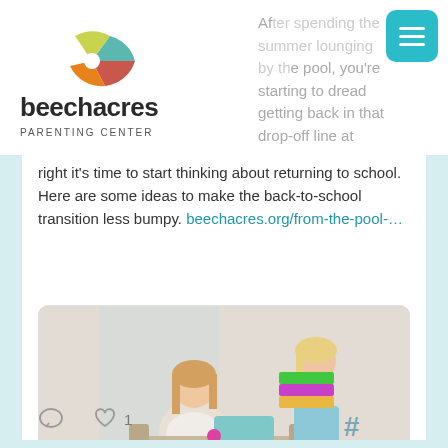[Figure (logo): Beechacres Parenting Center logo with colorful circle icon and text]
After spending the summer lounging by the pool, you're starting to dread getting back in that drop-off line at school. That's right it's time to start thinking about returning to school. Here are some ideas to make the back-to-school transition less bumpy. beechacres.org/from-the-pool-…
[Figure (photo): Two girls in a living room, one sitting on a couch and one standing holding a stack of books]
beechacres.org
From The Pool To Back To School, Get Your Family Back To A Routine …